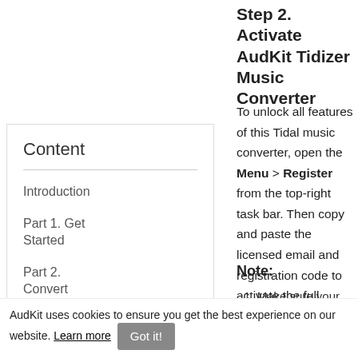Step 2. Activate AudKit Tidizer Music Converter
To unlock all features of this Tidal music converter, open the Menu > Register from the top-right task bar. Then copy and paste the licensed email and registration code to activate the full version.
Note:
Make sure your Tidal
Content
Introduction
Part 1. Get Started
Part 2. Convert Tidal to MP3
AudKit uses cookies to ensure you get the best experience on our website. Learn more  Got it!